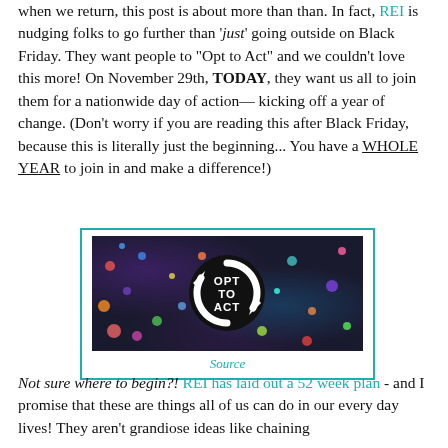when we return, this post is about more than than. In fact, REI is nudging folks to go further than 'just' going outside on Black Friday. They want people to "Opt to Act" and we couldn't love this more! On November 29th, TODAY, they want us all to join them for a nationwide day of action—kicking off a year of change. (Don't worry if you are reading this after Black Friday, because this is literally just the beginning... You have a WHOLE YEAR to join in and make a difference!)
[Figure (photo): REI 'Opt to Act' circular recycling arrow logo on a background of colorful microplastics/gravel, with the text 'OPT TO ACT' in the center circle]
Source
Not sure where to begin?! REI has laid out a 52 week plan - and I promise that these are things all of us can do in our every day lives! They aren't grandiose ideas like chaining